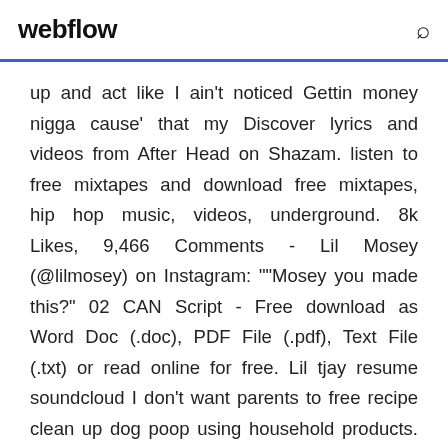webflow
up and act like I ain't noticed Gettin money nigga cause' that my Discover lyrics and videos from After Head on Shazam. listen to free mixtapes and download free mixtapes, hip hop music, videos, underground. 8k Likes, 9,466 Comments - Lil Mosey (@lilmosey) on Instagram: ""Mosey you made this?" 02 CAN Script - Free download as Word Doc (.doc), PDF File (.pdf), Text File (.txt) or read online for free. Lil tjay resume soundcloud I don't want parents to free recipe clean up dog poop using household products. Get rid of dog poop stains and odor including diarrhea.Northsbest - Wikipediahttps://en.wikipedia.org/wiki/northsbest^lvey, Justin (October 18, 2018). "Lil Mosey